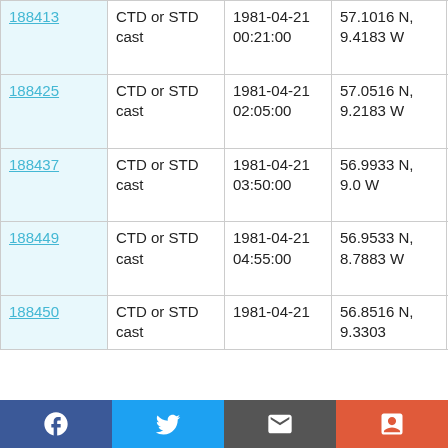| 188413 | CTD or STD cast | 1981-04-21 00:21:00 | 57.1016 N, 9.4183 W | RRS Challenger CH6B/81 |
| 188425 | CTD or STD cast | 1981-04-21 02:05:00 | 57.0516 N, 9.2183 W | RRS Challenger CH6B/81 |
| 188437 | CTD or STD cast | 1981-04-21 03:50:00 | 56.9933 N, 9.0 W | RRS Challenger CH6B/81 |
| 188449 | CTD or STD cast | 1981-04-21 04:55:00 | 56.9533 N, 8.7883 W | RRS Challenger CH6B/81 |
| 188450 | CTD or STD cast | 1981-04-21 | 56.8516 N, 9.3303... | Chall... |